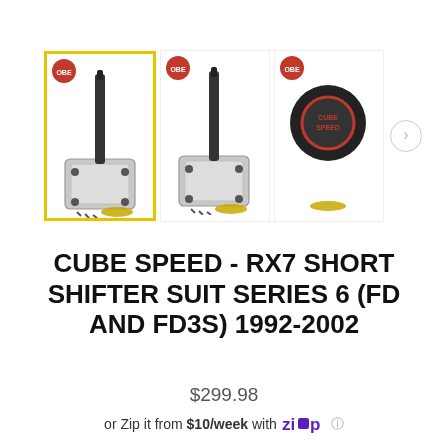[Figure (photo): Product carousel showing three thumbnail images of Cube Speed RX7 Short Shifter. First image (selected, yellow border) shows a chrome short shifter base with screws and logo badge. Second image shows similar shifter from slightly different angle. Third image shows a black round shift knob with Cube Speed logo. A right navigation arrow is visible.]
CUBE SPEED - RX7 SHORT SHIFTER SUIT SERIES 6 (FD AND FD3S) 1992-2002
$299.98
or Zip it from $10/week with Zip ℹ